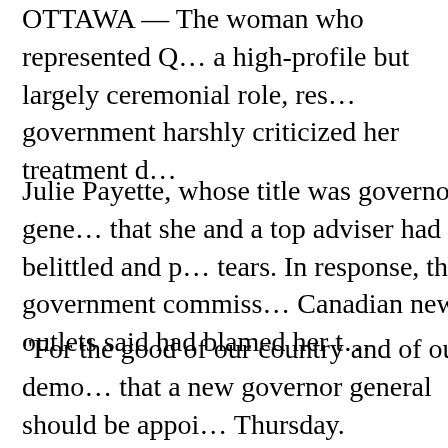OTTAWA — The woman who represented Q… a high-profile but largely ceremonial role, res… government harshly criticized her treatment d…
Julie Payette, whose title was governor gene… that she and a top adviser had belittled and p… tears. In response, the government commiss… Canadian news outlets said had blamed her t…
“For the good of our country and of our demo… that a new governor general should be appoi… Thursday.
Ms. Payette, a former astronaut, was said in… about the distance between celestial bodies.… gone on extended leaves.
Ms. Payette’s duties included signing all Can…